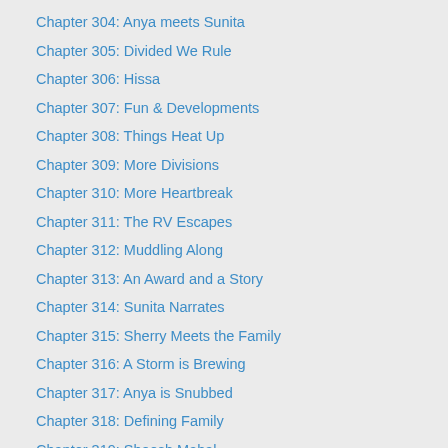Chapter 304: Anya meets Sunita
Chapter 305: Divided We Rule
Chapter 306: Hissa
Chapter 307: Fun & Developments
Chapter 308: Things Heat Up
Chapter 309: More Divisions
Chapter 310: More Heartbreak
Chapter 311: The RV Escapes
Chapter 312: Muddling Along
Chapter 313: An Award and a Story
Chapter 314: Sunita Narrates
Chapter 315: Sherry Meets the Family
Chapter 316: A Storm is Brewing
Chapter 317: Anya is Snubbed
Chapter 318: Defining Family
Chapter 319: Sheesh Mahal
Chapter 320: The Past Rises Again
Chapter 321: Sherry is Brutal
Chapter 322: Star-crossed Lovers
Chapter 323: A Broken Anya